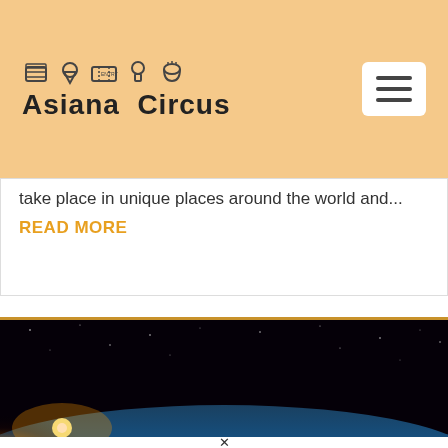Asiana Circus
take place in unique places around the world and...
READ MORE
[Figure (photo): Photo of Earth from space showing the planet's curve with a bright orange/yellow light glow on one side and a blue atmospheric glow on the horizon, against a dark starry sky background.]